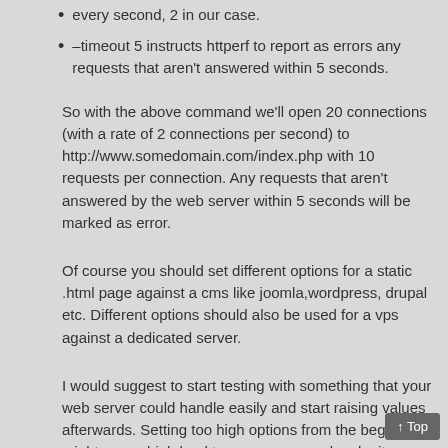every second, 2 in our case.
–timeout 5 instructs httperf to report as errors any requests that aren't answered within 5 seconds.
So with the above command we'll open 20 connections (with a rate of 2 connections per second) to http://www.somedomain.com/index.php with 10 requests per connection. Any requests that aren't answered by the web server within 5 seconds will be marked as error.
Of course you should set different options for a static .html page against a cms like joomla,wordpress, drupal etc. Different options should also be used for a vps against a dedicated server.
I would suggest to start testing with something that your web server could handle easily and start raising values afterwards. Setting too high options from the beginning might cause high load to your server and make it unresponsive.
For further customization you should visit the man page of httperf